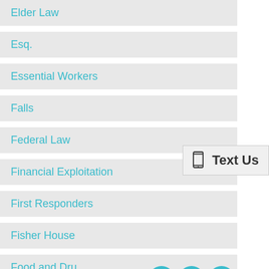Elder Law
Esq.
Essential Workers
Falls
Federal Law
Financial Exploitation
First Responders
Fisher House
Food and Dru...
Forced Arbitr...
FOX News
Gotham Gaze...
Governor Andrew Cuomo
[Figure (screenshot): Text Us button with phone icon on the right side of the page]
[Figure (screenshot): Live chat widget overlay showing Alison, Operator from Dalli & Marino with message: Hi, welcome to Dalli & Marino, LLP. How can we assist you today? and a text input area. Powered By: LiveAdmins. Three control buttons (menu, minimize, close) in teal circles.]